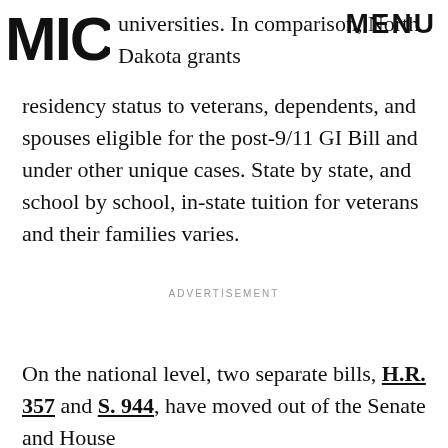MIC | MENU
universities. In comparison, North Dakota grants residency status to veterans, dependents, and spouses eligible for the post-9/11 GI Bill and under other unique cases. State by state, and school by school, in-state tuition for veterans and their families varies.
ADVERTISEMENT
On the national level, two separate bills, H.R. 357 and S. 944, have moved out of the Senate and House committees responsible for veterans' affairs. A fl...